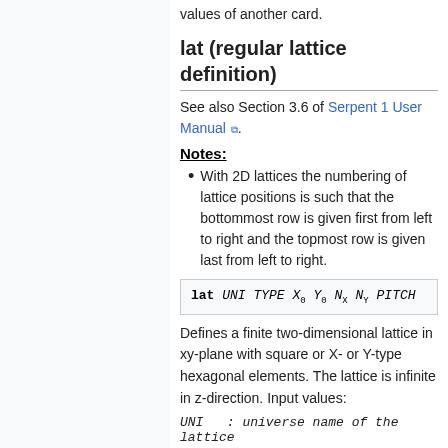values of another card.
lat (regular lattice definition)
See also Section 3.6 of Serpent 1 User Manual.
Notes:
With 2D lattices the numbering of lattice positions is such that the bottommost row is given first from left to right and the topmost row is given last from left to right.
Defines a finite two-dimensional lattice in xy-plane with square or X- or Y-type hexagonal elements. The lattice is infinite in z-direction. Input values:
UNI : universe name of the lattice